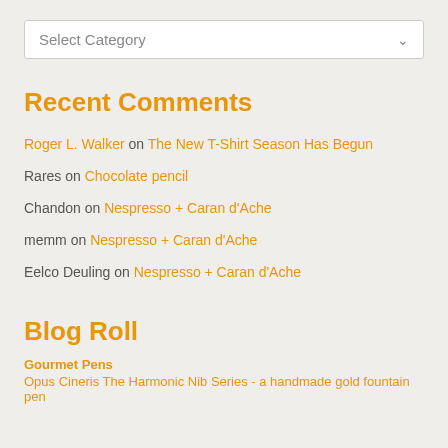Select Category
Recent Comments
Roger L. Walker on The New T-Shirt Season Has Begun
Rares on Chocolate pencil
Chandon on Nespresso + Caran d'Ache
memm on Nespresso + Caran d'Ache
Eelco Deuling on Nespresso + Caran d'Ache
Blog Roll
Gourmet Pens
Opus Cineris The Harmonic Nib Series - a handmade gold fountain pen